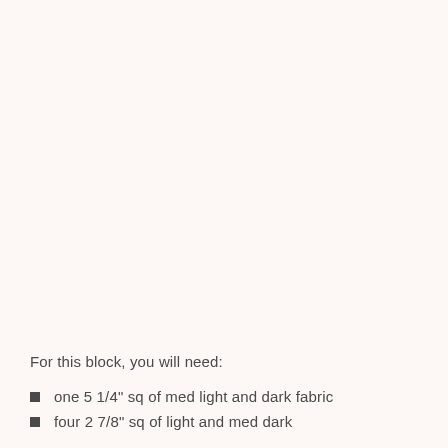For this block, you will need:
one 5 1/4" sq of med light and dark fabric
four 2 7/8" sq of light and med dark